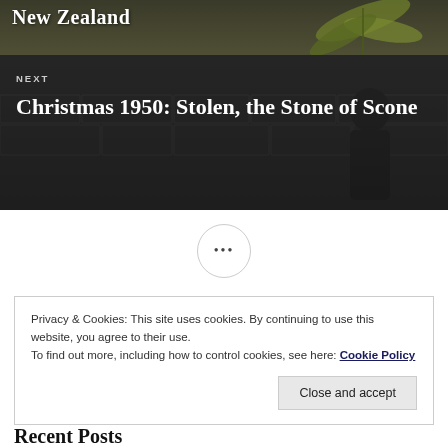[Figure (photo): Top portion of a webpage showing a dark olive/green background with leaves and white bold title text 'New Zealand']
[Figure (photo): Navigation block labeled NEXT with a dark background showing a person seated on a stone, with large white title text 'Christmas 1950: Stolen, the Stone of Scone']
•••
Privacy & Cookies: This site uses cookies. By continuing to use this website, you agree to their use.
To find out more, including how to control cookies, see here: Cookie Policy
Close and accept
Recent Posts